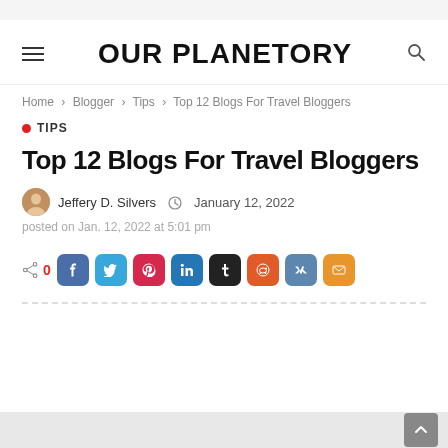OUR PLANETORY
Home > Blogger > Tips > Top 12 Blogs For Travel Bloggers
TIPS
Top 12 Blogs For Travel Bloggers
Jeffery D. Silvers  January 12, 2022
posted on Jan. 12, 2022 at 5:01 pm
0 [share icons: Facebook, Twitter, Pinterest, LinkedIn, Tumblr, Reddit, VK, Email]
Back to top